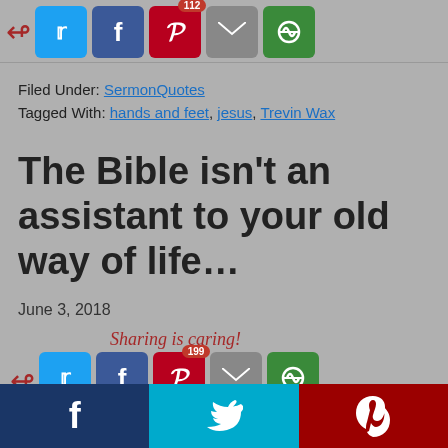[Figure (screenshot): Social sharing buttons row at top: Twitter (blue), Facebook (dark blue), Pinterest (red, badge 112), Email (gray), Other (green)]
Filed Under: SermonQuotes
Tagged With: hands and feet, jesus, Trevin Wax
The Bible isn't an assistant to your old way of life...
June 3, 2018
[Figure (screenshot): Sharing is caring! label with social sharing buttons: Twitter, Facebook, Pinterest (badge 199), Email, Other]
[Figure (screenshot): Bottom bar with three social buttons: Facebook (dark navy), Twitter (light blue), Pinterest (dark red)]